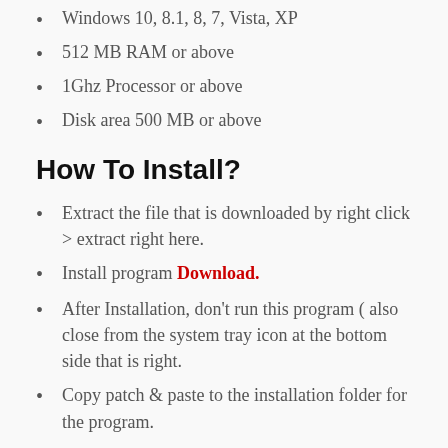Windows 10, 8.1, 8, 7, Vista, XP
512 MB RAM or above
1Ghz Processor or above
Disk area 500 MB or above
How To Install?
Extract the file that is downloaded by right click > extract right here.
Install program Download.
After Installation, don't run this program ( also close from the system tray icon at the bottom side that is right.
Copy patch & paste to the installation folder for the program.
32bit : ( Computer \ Disk C \ Program Files \ Wondershare \ PDFelement 6 professional